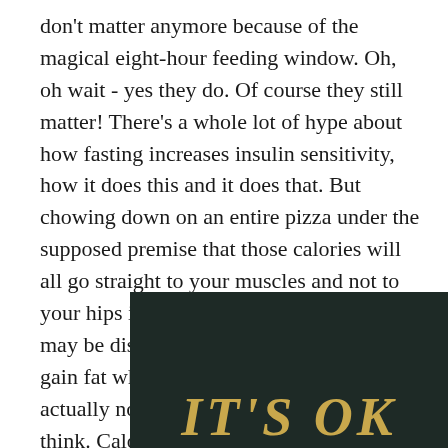don't matter anymore because of the magical eight-hour feeding window. Oh, oh wait - yes they do. Of course they still matter! There's a whole lot of hype about how fasting increases insulin sensitivity, how it does this and it does that. But chowing down on an entire pizza under the supposed premise that those calories will all go straight to your muscles and not to your hips is the wrong way to do it. You may be dismayed to learn that you can still gain fat while intermittent fasting, and it's actually not as difficult to do as you'd think. Calories are still relevant. Control yourself!
[Figure (photo): Dark background image with large bold italic golden/yellow text reading "IT'S OK" in uppercase letters, partially visible at bottom of image.]